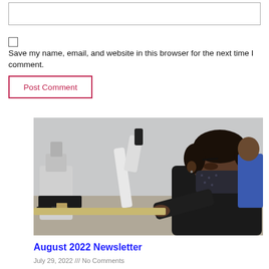[input box]
Save my name, email, and website in this browser for the next time I comment.
Post Comment
[Figure (photo): A student wearing a mask looks through a microscope in a laboratory setting. Several microscopes are visible on lab benches in the background.]
August 2022 Newsletter
July 29, 2022 /// No Comments